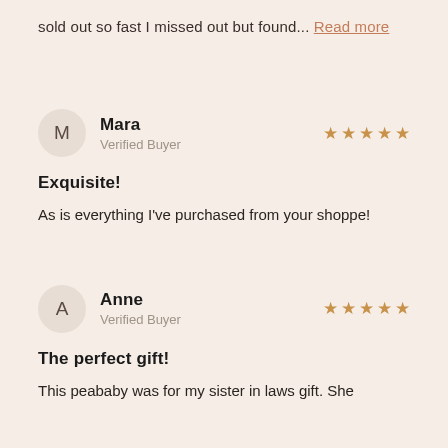sold out so fast I missed out but found... Read more
Mara
Verified Buyer
★★★★★
Exquisite!
As is everything I've purchased from your shoppe!
Anne
Verified Buyer
★★★★★
The perfect gift!
This peababy was for my sister in laws gift. She